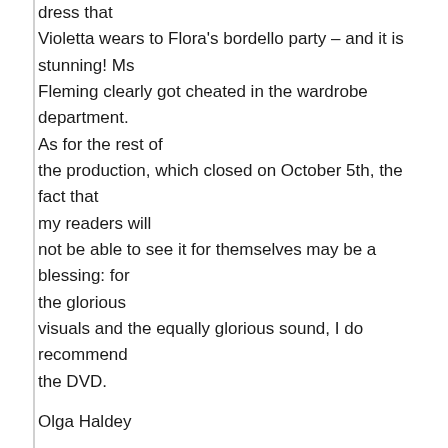dress that Violetta wears to Flora's bordello party – and it is stunning! Ms Fleming clearly got cheated in the wardrobe department. As for the rest of the production, which closed on October 5th, the fact that my readers will not be able to see it for themselves may be a blessing: for the glorious visuals and the equally glorious sound, I do recommend the DVD.
Olga Haldey
image=http://70.32.73.199/Traviata_9_08_19%231DCA.png image_description=Arturo ChacÛn -Cruz as Alfredo, Elizabeth Futral as Violetta. Washington National Opera (2008). Photo: Karin Cooper.